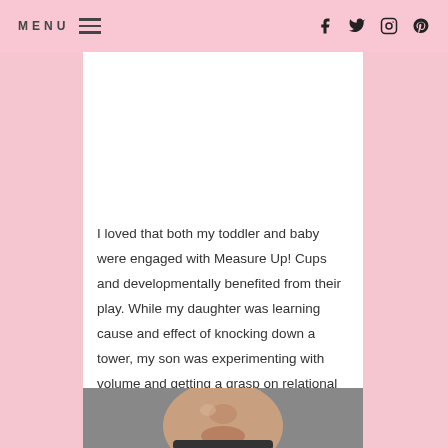MENU  [hamburger icon]  [facebook] [twitter] [instagram] [pinterest]
[Figure (photo): Colorful plastic cups (red, teal, yellow, blue, orange) on a dark surface with a child's hand reaching in, small objects inside the cups]
I loved that both my toddler and baby were engaged with Measure Up! Cups and developmentally benefited from their play. While my daughter was learning cause and effect of knocking down a tower, my son was experimenting with volume and getting a grasp on relational sizing.
[Figure (photo): Partial view of a child's face from the nose down, blurred/soft focus, dark clothing visible]